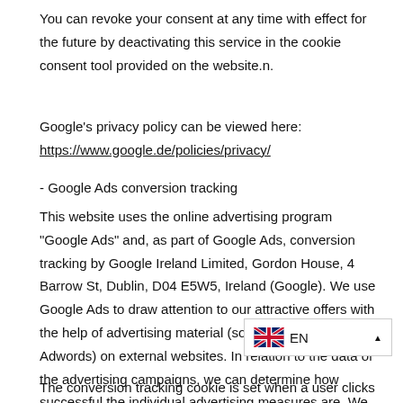You can revoke your consent at any time with effect for the future by deactivating this service in the cookie consent tool provided on the website.n.
Google's privacy policy can be viewed here: https://www.google.de/policies/privacy/
- Google Ads conversion tracking
This website uses the online advertising program "Google Ads" and, as part of Google Ads, conversion tracking by Google Ireland Limited, Gordon House, 4 Barrow St, Dublin, D04 E5W5, Ireland (Google). We use Google Ads to draw attention to our attractive offers with the help of advertising material (so-called Google Adwords) on external websites. In relation to the data of the advertising campaigns, we can determine how successful the individual advertising measures are. We are pursuing the goal of showing you advertising that is of interest to you, making our website more interesting for you and achieving a fair calculation of the advertising costs incurred.n.
The conversion tracking cookie is set when a user clicks on an